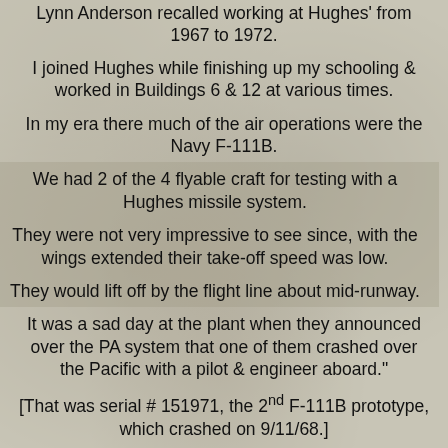Lynn Anderson recalled working at Hughes' from 1967 to 1972.
I joined Hughes while finishing up my schooling & worked in Buildings 6 & 12 at various times.
In my era there much of the air operations were the Navy F-111B.
We had 2 of the 4 flyable craft for testing with a Hughes missile system.
They were not very impressive to see since, with the wings extended their take-off speed was low.
They would lift off by the flight line about mid-runway.
It was a sad day at the plant when they announced over the PA system that one of them crashed over the Pacific with a pilot & engineer aboard."
[That was serial # 151971, the 2nd F-111B prototype, which crashed on 9/11/68.]